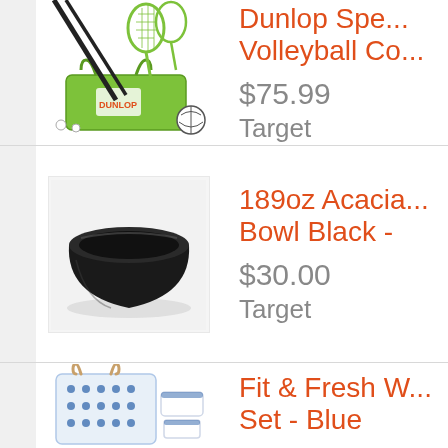[Figure (photo): Dunlop badminton/volleyball combo set with green bag, rackets, poles, and accessories]
Dunlop Spe... Volleyball Co...
$75.99
Target
[Figure (photo): Black acacia wood bowl on white/gray background]
189oz Acacia... Bowl Black -
$30.00
Target
[Figure (photo): Fit & Fresh blue patterned lunch bag set with containers]
Fit & Fresh W... Set - Blue
$1...